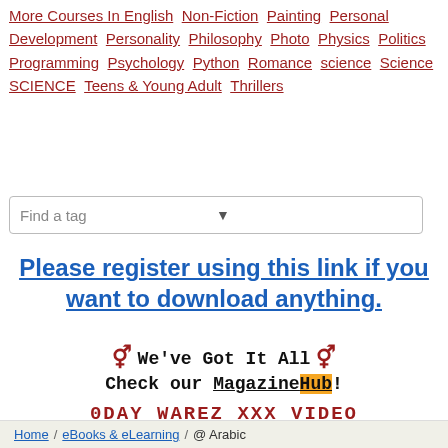More Courses In English  Non-Fiction  Painting  Personal Development  Personality  Philosophy  Photo  Physics  Politics  Programming  Psychology  Python  Romance  science  Science  SCIENCE  Teens & Young Adult  Thrillers
Find a tag
Please register using this link if you want to download anything.
♀︎♂ We've Got It All ♀︎♂
Check our MagazineHub!
0DAY WAREZ XXX VIDEO
Home / eBooks & eLearning / @ Arabic